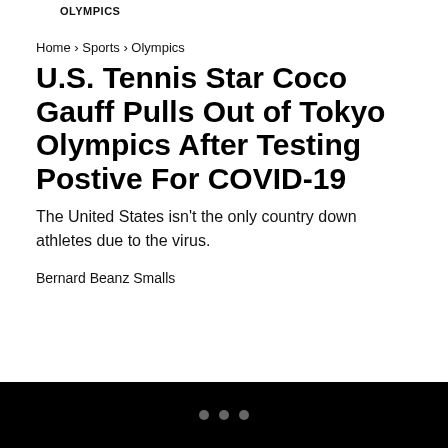OLYMPICS
Home › Sports › Olympics
U.S. Tennis Star Coco Gauff Pulls Out of Tokyo Olympics After Testing Postive For COVID-19
The United States isn't the only country down athletes due to the virus.
Bernard Beanz Smalls